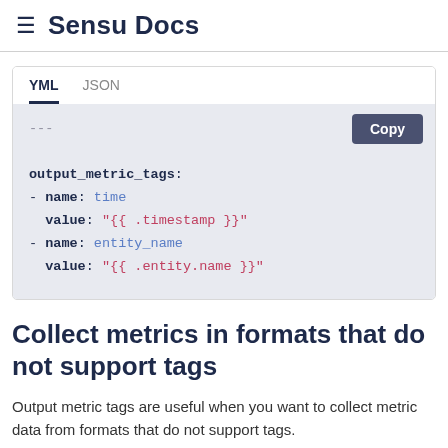≡ Sensu Docs
[Figure (screenshot): YML/JSON tab code block showing output_metric_tags YAML configuration with name: time, value: '{{ .timestamp }}', name: entity_name, value: '{{ .entity.name }}']
Collect metrics in formats that do not support tags
Output metric tags are useful when you want to collect metric data from formats that do not support tags.